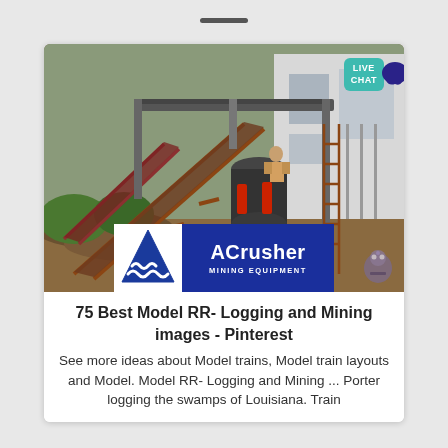[Figure (photo): Mining equipment / industrial crusher machinery photo with ACrusher Mining Equipment logo overlay in bottom center. A 'LIVE CHAT' button appears in the top right corner.]
75 Best Model RR- Logging and Mining images - Pinterest
See more ideas about Model trains, Model train layouts and Model. Model RR- Logging and Mining ... Porter logging the swamps of Louisiana. Train